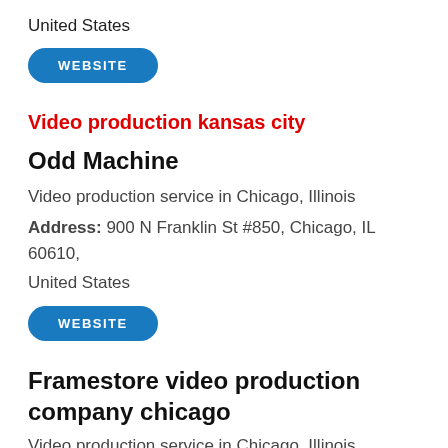United States
WEBSITE
Video production kansas city
Odd Machine
Video production service in Chicago, Illinois
Address: 900 N Franklin St #850, Chicago, IL 60610,
United States
WEBSITE
Framestore video production company chicago
Video production service in Chicago, Illinois